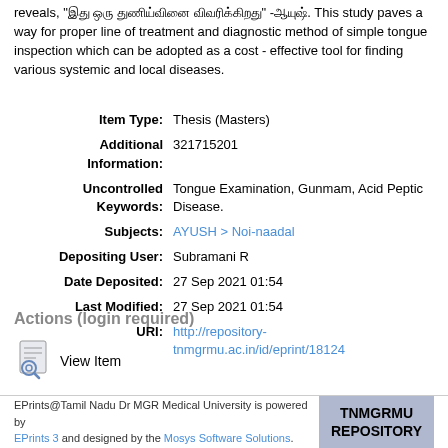reveals, "[Tamil text]" -[Tamil text]. This study paves a way for proper line of treatment and diagnostic method of simple tongue inspection which can be adopted as a cost - effective tool for finding various systemic and local diseases.
| Item Type: | Thesis (Masters) |
| Additional Information: | 321715201 |
| Uncontrolled Keywords: | Tongue Examination, Gunmam, Acid Peptic Disease. |
| Subjects: | AYUSH > Noi-naadal |
| Depositing User: | Subramani R |
| Date Deposited: | 27 Sep 2021 01:54 |
| Last Modified: | 27 Sep 2021 01:54 |
| URI: | http://repository-tnmgrmu.ac.in/id/eprint/18124 |
Actions (login required)
View Item
EPrints@Tamil Nadu Dr MGR Medical University is powered by EPrints 3 and designed by the Mosys Software Solutions. TNMGRMU REPOSITORY